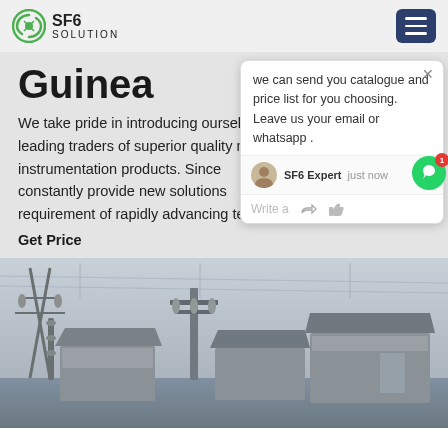SF6 SOLUTION
Guinea
We take pride in introducing ourselves as India's leading traders of superior quality measurement and instrumentation products. Since establishment, we constantly provide new solutions to meet the requirement of rapidly advancing technology.
Get Price
[Figure (screenshot): Chat popup widget showing message: 'we can send you catalogue and price list for you choosing. Leave us your email or whatsapp.' with SF6 Expert agent label and 'just now' timestamp, plus write/like/attach icons.]
[Figure (photo): Outdoor electrical substation with high-voltage equipment, insulators, transformers, and metal structures against a hazy sky.]